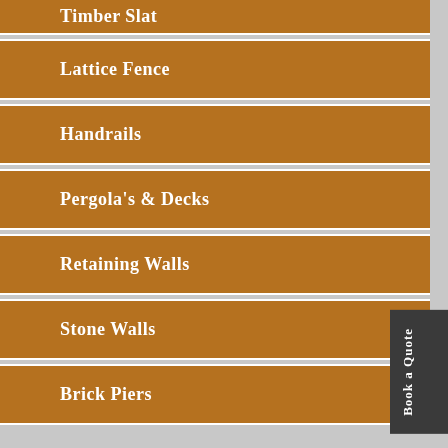Timber Slat
Lattice Fence
Handrails
Pergola's & Decks
Retaining Walls
Stone Walls
Brick Piers